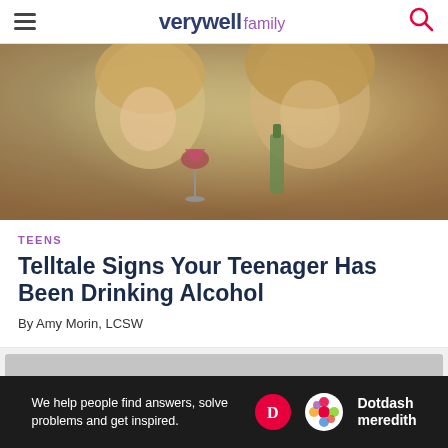verywell family
[Figure (photo): Two smiling teenage girls holding wine glass and beer bottle, outdoors with bokeh background]
TEENS
Telltale Signs Your Teenager Has Been Drinking Alcohol
By Amy Morin, LCSW
[Figure (other): Gray advertisement placeholder block]
[Figure (other): Dotdash Meredith footer banner: We help people find answers, solve problems and get inspired.]